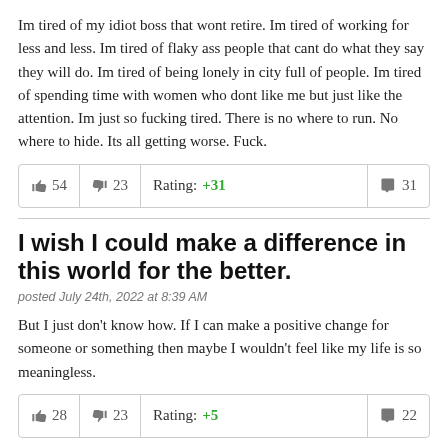Im tired of my idiot boss that wont retire. Im tired of working for less and less. Im tired of flaky ass people that cant do what they say they will do. Im tired of being lonely in city full of people. Im tired of spending time with women who dont like me but just like the attention. Im just so fucking tired. There is no where to run. No where to hide. Its all getting worse. Fuck.
| 👍 54 | 👎 23 | Rating: +31 | 💬 31 |
I wish I could make a difference in this world for the better.
posted July 24th, 2022 at 8:39 AM
But I just don't know how. If I can make a positive change for someone or something then maybe I wouldn't feel like my life is so meaningless.
| 👍 28 | 👎 23 | Rating: +5 | 💬 22 |